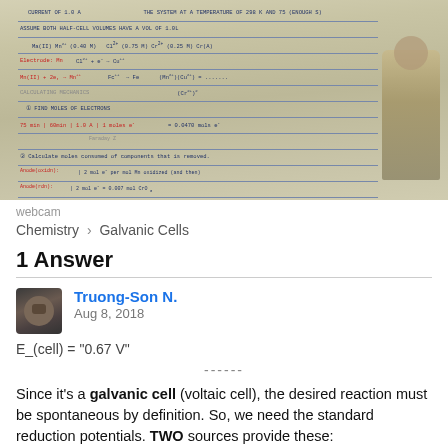[Figure (photo): Photograph of handwritten chemistry notebook page showing galvanic cell calculations, including half-cell reactions, electrode potentials, moles of electrons, and concentration calculations. A person is partially visible on the right side of the image.]
webcam
Chemistry > Galvanic Cells
1 Answer
Truong-Son N.
Aug 8, 2018
------
Since it's a galvanic cell (voltaic cell), the desired reaction must be spontaneous by definition. So, we need the standard reduction potentials. TWO sources provide these: